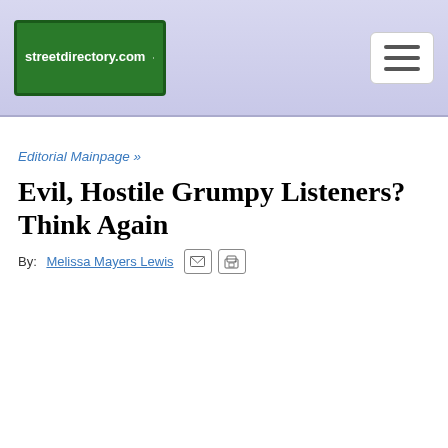streetdirectory.com
Editorial Mainpage »
Evil, Hostile Grumpy Listeners? Think Again
By: Melissa Mayers Lewis